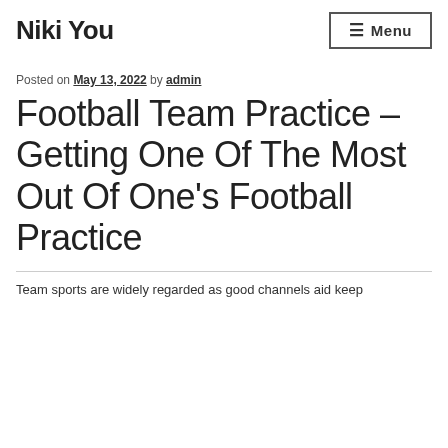Niki You
Posted on May 13, 2022 by admin
Football Team Practice – Getting One Of The Most Out Of One's Football Practice
Team sports are widely regarded as good channels aid keep